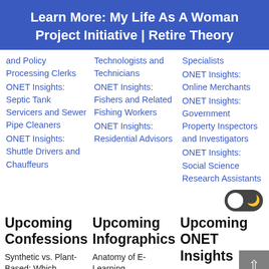Learn More: My Life As A Woman Project Initiative | Retire Theory
and Policy Processing Clerks
ONET Insights: Septic Tank Servicers and Sewer Pipe Cleaners
ONET Insights: Shuttle Drivers and Chauffeurs
Technologists and Technicians
ONET Insights: Fishers and Related Fishing Workers
ONET Insights: Residential Advisors
Specialists
ONET Insights: Online Merchants
ONET Insights: Government Property Inspectors and Investigators
ONET Insights: Social Science Research Assistants
Upcoming Confessions
Upcoming Infographics
Upcoming ONET Insights
Synthetic vs. Plant-Based: Which
Anatomy of E-Learning
ONET Insights: